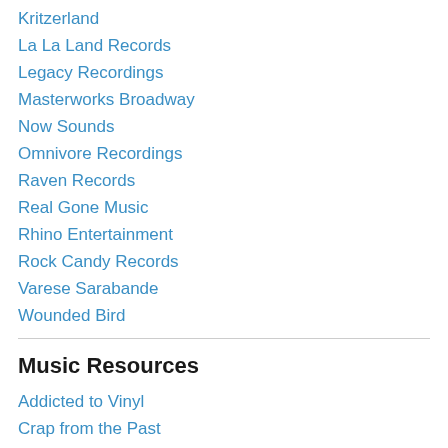Kritzerland
La La Land Records
Legacy Recordings
Masterworks Broadway
Now Sounds
Omnivore Recordings
Raven Records
Real Gone Music
Rhino Entertainment
Rock Candy Records
Varese Sarabande
Wounded Bird
Music Resources
Addicted to Vinyl
Crap from the Past
Discogs
Film Score Monthly